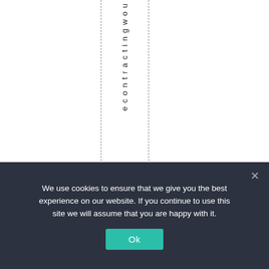econtractingwou
We use cookies to ensure that we give you the best experience on our website. If you continue to use this site we will assume that you are happy with it.